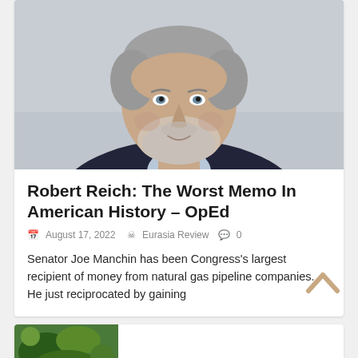[Figure (photo): Headshot photo of Robert Reich, an older man with grey hair and grey beard, wearing a dark suit jacket and light blue shirt, smiling slightly against a light grey background.]
Robert Reich: The Worst Memo In American History – OpEd
August 17, 2022  Eurasia Review  0
Senator Joe Manchin has been Congress's largest recipient of money from natural gas pipeline companies. He just reciprocated by gaining
[Figure (photo): Partial photo of a second article card, showing a green nature/plant image on the left side.]